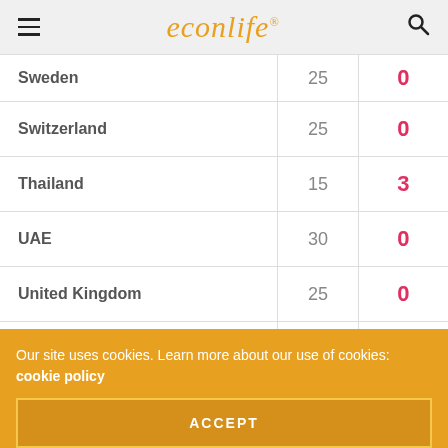econlife
| Country |  |  |
| --- | --- | --- |
| Sweden | 25 | 0 |
| Switzerland | 25 | 0 |
| Thailand | 15 | 3 |
| UAE | 30 | 0 |
| United Kingdom | 25 | 0 |
| USA | 15 | 3 |
From: Expedia
Our site uses cookies. Learn more about our use of cookies: cookie policy
ACCEPT